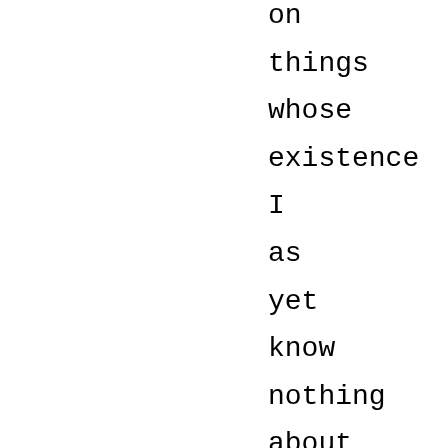on
things
whose
existence
I
as
yet
know
nothing
about
and
therefore
on
any
of
those
things
I
conjure
up
in